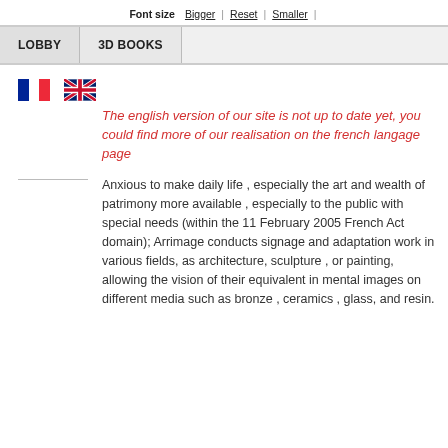Font size  Bigger | Reset | Smaller |
LOBBY  3D BOOKS
[Figure (illustration): French flag and UK flag icons side by side]
The english version of our site is not up to date yet, you could find more of our realisation on the french langage page
Anxious to make daily life , especially the art and wealth of patrimony more available , especially to the public with special needs (within the 11 February 2005 French Act domain); Arrimage conducts signage and adaptation work in various fields, as architecture, sculpture , or painting, allowing the vision of their equivalent in mental images on different media such as bronze , ceramics , glass, and resin.